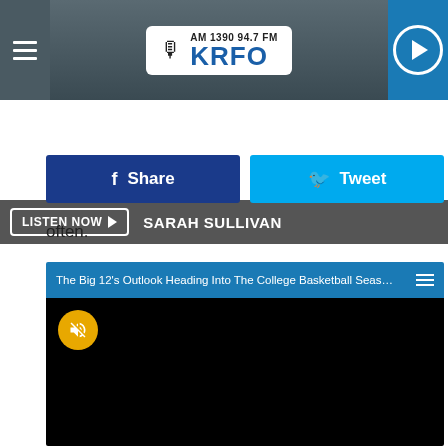[Figure (screenshot): KRFO radio station header with hamburger menu, logo (AM 1390 94.7 FM KRFO), and play button]
LISTEN NOW ▶  SARAH SULLIVAN
[Figure (screenshot): Social share buttons: Facebook Share and Twitter Tweet]
often.
[Figure (screenshot): Video embed: The Big 12's Outlook Heading Into The College Basketball Seaso... with black video frame and muted speaker icon]